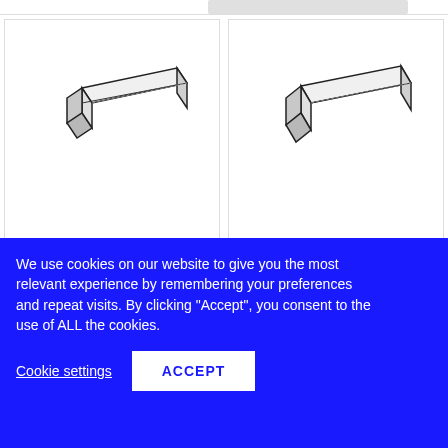[Figure (illustration): 3D isometric drawing of a flat rectangular plastic strip labeled 101 .010 X .030 STRIP]
101 .010 X .030 STRIP
Sku: EVG101
Evergreen
[Figure (illustration): 3D isometric drawing of a flat rectangular plastic strip labeled 104 .010 X .080 STRIP]
104 .010 X .080 STRIP
Sku: EVG104
Evergreen
We use cookies on our website to give you the most relevant experience by remembering your preferences and repeat visits. By clicking “Accept”, you consent to the use of ALL the cookies.
Cookie settings
ACCEPT